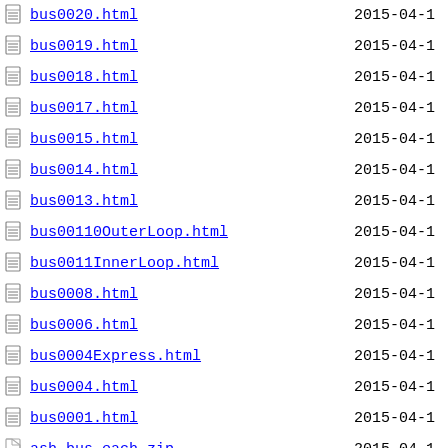bus0020.html  2015-04-1
bus0019.html  2015-04-1
bus0018.html  2015-04-1
bus0017.html  2015-04-1
bus0015.html  2015-04-1
bus0014.html  2015-04-1
bus0013.html  2015-04-1
bus00110OuterLoop.html  2015-04-1
bus0011InnerLoop.html  2015-04-1
bus0008.html  2015-04-1
bus0006.html  2015-04-1
bus0004Express.html  2015-04-1
bus0004.html  2015-04-1
bus0001.html  2015-04-1
ash-bus-each.zip  2015-04-1
ash-bus-all.zip  2015-04-1